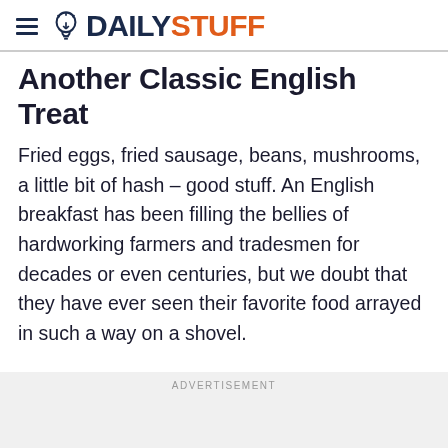DAILYSTUFF
Another Classic English Treat
Fried eggs, fried sausage, beans, mushrooms, a little bit of hash – good stuff. An English breakfast has been filling the bellies of hardworking farmers and tradesmen for decades or even centuries, but we doubt that they have ever seen their favorite food arrayed in such a way on a shovel.
ADVERTISEMENT